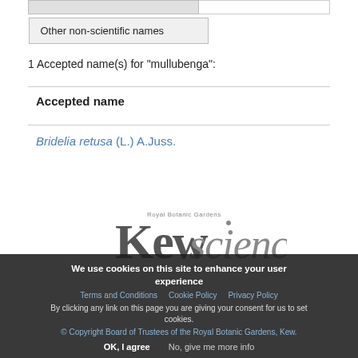| Other non-scientific names |
| --- |
1 Accepted name(s) for "mullubenga":
Accepted name
Bridelia retusa (L.) A.Juss.
[Figure (logo): Kew Science logo — Royal Botanic Gardens Kew science wordmark]
We use cookies on this site to enhance your user experience
Terms and Conditions   Cookie Policy   Privacy Policy
By clicking any link on this page you are giving your consent for us to set cookies.
© Copyright Board of Trustees of the Royal Botanic Gardens, Kew.
OK, I agree   No, give me more info